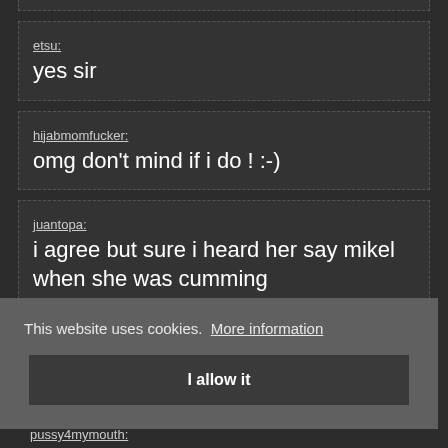etsu:
yes sir
hijabmomfucker:
omg don't mind if i do ! :-)
juantopa:
i agree but sure i heard her say mikel when she was cumming
This website uses cookies. More information
I allow it
pussy4mymouth: